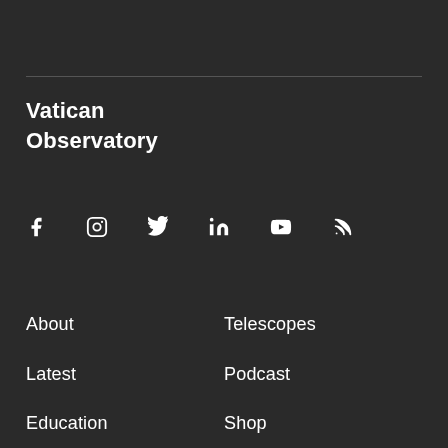Vatican Observatory
[Figure (infographic): Row of social media icons: Facebook, Instagram, Twitter, LinkedIn, YouTube, RSS]
About
Telescopes
Latest
Podcast
Education
Shop
Calendar
Support